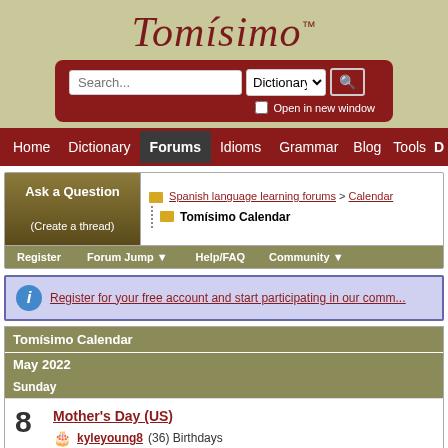Tomísimo™
[Figure (screenshot): Search bar with text input, Dictionary dropdown, search button, and Open in new window checkbox]
Home  Dictionary  Forums  Idioms  Grammar  Blog  Tools
Ask a Question (Create a thread)
Spanish language learning forums > Calendar
Tomísimo Calendar
Register  Forum Jump  Help/FAQ  Community
Register for your free account and start participating in our comm...
Tomísimo Calendar
May 2022
Sunday
8  Mother's Day (US)
🎂 kyleyoung8 (36) Birthdays